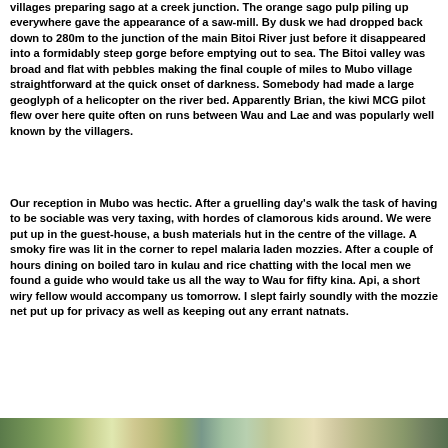villages preparing sago at a creek junction. The orange sago pulp piling up everywhere gave the appearance of a saw-mill. By dusk we had dropped back down to 280m to the junction of the main Bitoi River just before it disappeared into a formidably steep gorge before emptying out to sea. The Bitoi valley was broad and flat with pebbles making the final couple of miles to Mubo village straightforward at the quick onset of darkness. Somebody had made a large geoglyph of a helicopter on the river bed. Apparently Brian, the kiwi MCG pilot flew over here quite often on runs between Wau and Lae and was popularly well known by the villagers.
Our reception in Mubo was hectic. After a gruelling day's walk the task of having to be sociable was very taxing, with hordes of clamorous kids around. We were put up in the guest-house, a bush materials hut in the centre of the village. A smoky fire was lit in the corner to repel malaria laden mozzies. After a couple of hours dining on boiled taro in kulau and rice chatting with the local men we found a guide who would take us all the way to Wau for fifty kina. Api, a short wiry fellow would accompany us tomorrow. I slept fairly soundly with the mozzie net put up for privacy as well as keeping out any errant natnats.
[Figure (photo): Partial view of a photograph showing a natural outdoor scene, visible at the bottom of the page]